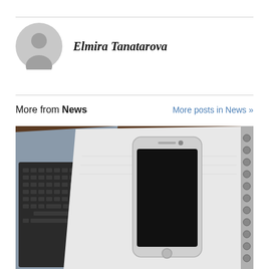Elmira Tanatarova
More from News
More posts in News »
[Figure (photo): Overhead photo of a smartphone placed on top of a notebook/notepad, next to an open laptop on a wooden table surface]